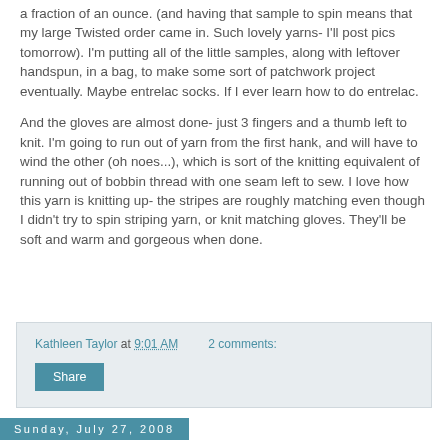a fraction of an ounce. (and having that sample to spin means that my large Twisted order came in. Such lovely yarns- I'll post pics tomorrow). I'm putting all of the little samples, along with leftover handspun, in a bag, to make some sort of patchwork project eventually. Maybe entrelac socks. If I ever learn how to do entrelac.
And the gloves are almost done- just 3 fingers and a thumb left to knit. I'm going to run out of yarn from the first hank, and will have to wind the other (oh noes...), which is sort of the knitting equivalent of running out of bobbin thread with one seam left to sew. I love how this yarn is knitting up- the stripes are roughly matching even though I didn't try to spin striping yarn, or knit matching gloves. They'll be soft and warm and gorgeous when done.
Kathleen Taylor at 9:01 AM    2 comments:
Share
Sunday, July 27, 2008